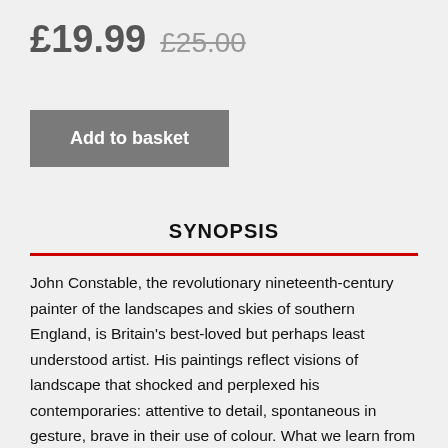£19.99 £25.00
Add to basket
SYNOPSIS
John Constable, the revolutionary nineteenth-century painter of the landscapes and skies of southern England, is Britain's best-loved but perhaps least understood artist. His paintings reflect visions of landscape that shocked and perplexed his contemporaries: attentive to detail, spontaneous in gesture, brave in their use of colour. What we learn from his landscapes is that Constable had sharp local knowledge of Suffolk, a clarity of expression of the skyscapes above Hampstead, an understanding of the human tides in London and Brighton, and a rare ability in his late paintings of Salisbury Cathedral to transform silent suppressed passion into paint.